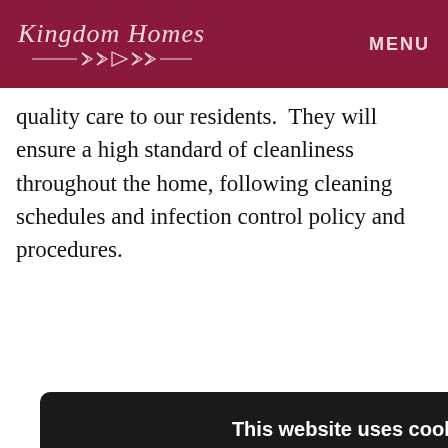Kingdom Homes | MENU
quality care to our residents. They will ensure a high standard of cleanliness throughout the home, following cleaning schedules and infection control policy and procedures.
[Figure (screenshot): Cookie consent modal dialog with title 'This website uses cookies', body text about cookie policy, 'I agree' (green) and 'I disagree' (red/brown) buttons, and a 'Read more' (grey) button. Partially overlays background page text showing fragments: 'n the Job', 'and', 'Equal', 'o be', 'ions and', 'may be', 'ddress'.]